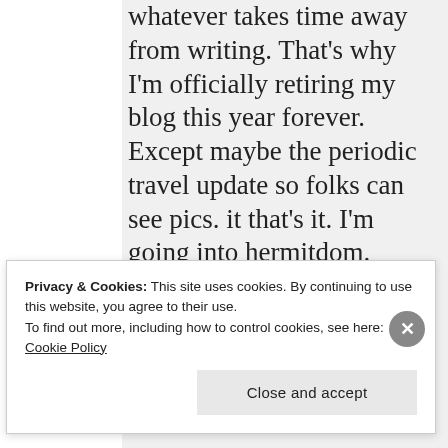whatever takes time away from writing. That's why I'm officially retiring my blog this year forever. Except maybe the periodic travel update so folks can see pics. it that's it. I'm going into hermitdom. (though not as much as I'd like )
MAY 23, 2012 AT 10:55 PM
Privacy & Cookies: This site uses cookies. By continuing to use this website, you agree to their use. To find out more, including how to control cookies, see here: Cookie Policy
Close and accept